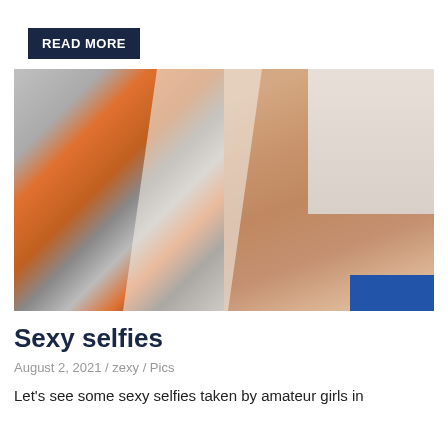READ MORE
[Figure (photo): A photo showing a person lying on a bed, with a graphic t-shirt visible on the left side featuring orange and gray designs, and the torso/midsection of a person on the right side against white bedding, with a glimpse of blue fabric at the bottom right.]
Sexy selfies
August 2, 2021 / zexy / Pics
Let's see some sexy selfies taken by amateur girls in